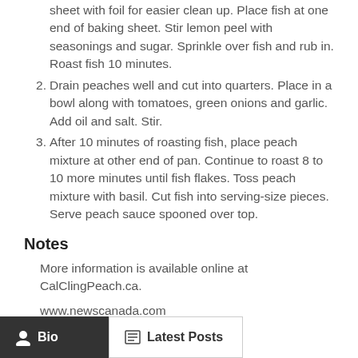sheet with foil for easier clean up. Place fish at one end of baking sheet. Stir lemon peel with seasonings and sugar. Sprinkle over fish and rub in. Roast fish 10 minutes.
2. Drain peaches well and cut into quarters. Place in a bowl along with tomatoes, green onions and garlic. Add oil and salt. Stir.
3. After 10 minutes of roasting fish, place peach mixture at other end of pan. Continue to roast 8 to 10 more minutes until fish flakes. Toss peach mixture with basil. Cut fish into serving-size pieces. Serve peach sauce spooned over top.
Notes
More information is available online at CalClingPeach.ca.
www.newscanada.com
Bio | Latest Posts